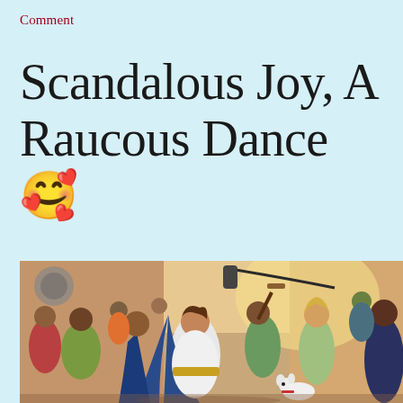Comment
Scandalous Joy, A Raucous Dance 🤩
[Figure (illustration): A colorful painting depicting a joyful, raucous celebration scene with people dancing and playing instruments in ancient/biblical style clothing. A central figure in white and blue robes dances exuberantly, head thrown back, surrounded by musicians, revelers, and a small white dog in the foreground.]